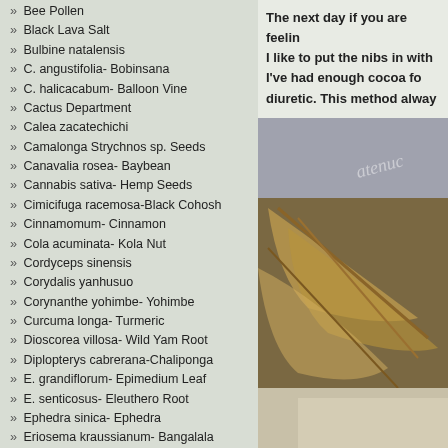» Bee Pollen
» Black Lava Salt
» Bulbine natalensis
» C. angustifolia- Bobinsana
» C. halicacabum- Balloon Vine
» Cactus Department
» Calea zacatechichi
» Camalonga Strychnos sp. Seeds
» Canavalia rosea- Baybean
» Cannabis sativa- Hemp Seeds
» Cimicifuga racemosa-Black Cohosh
» Cinnamomum- Cinnamon
» Cola acuminata- Kola Nut
» Cordyceps sinensis
» Corydalis yanhusuo
» Corynanthe yohimbe- Yohimbe
» Curcuma longa- Turmeric
» Dioscorea villosa- Wild Yam Root
» Diplopterys cabrerana-Chaliponga
» E. grandiflorum- Epimedium Leaf
» E. senticosus- Eleuthero Root
» Ephedra sinica- Ephedra
» Eriosema kraussianum- Bangalala
» Erythrina mulungu- Mulungu
» Eurycoma longifolia- Tongkat Ali
» G. lucidum- Reishi Mushroom
The next day if you are feeling... I like to put the nibs in with... I've had enough cocoa fo... diuretic. This method alway...
[Figure (photo): Close-up photograph of dried plant material/leaves on rocky surface with text watermark]